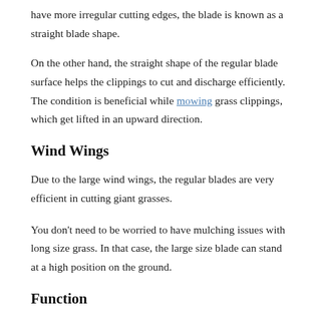have more irregular cutting edges, the blade is known as a straight blade shape.
On the other hand, the straight shape of the regular blade surface helps the clippings to cut and discharge efficiently. The condition is beneficial while mowing grass clippings, which get lifted in an upward direction.
Wind Wings
Due to the large wind wings, the regular blades are very efficient in cutting giant grasses.
You don't need to be worried to have mulching issues with long size grass. In that case, the large size blade can stand at a high position on the ground.
Function